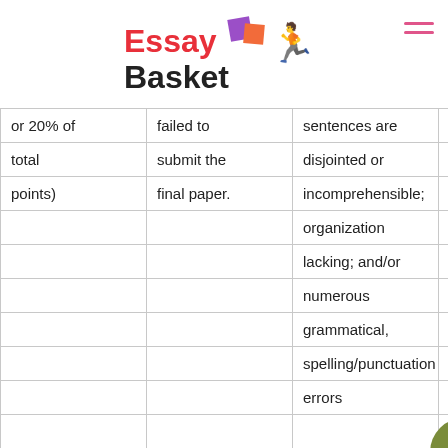[Figure (logo): Essay Basket logo with running figure icon]
| or 20% of | failed to | sentences are | frag... |
| total | submit the | disjointed or | wan... |
| points) | final paper. | incomprehensible; | and/... |
|  |  | organization | poor... |
|  |  | lacking; and/or | orga... |
|  |  | numerous | and/... |
|  |  | grammatical, | gram... |
|  |  | spelling/punctuation | spell... |
|  |  | errors | punc... |
|  |  |  | error... |
|  |  |  |  |
|  |  |  | 5 po... |